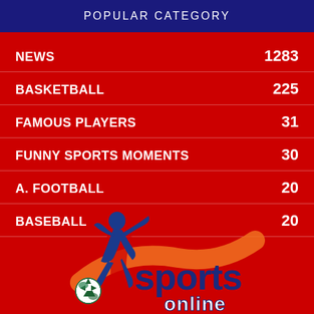POPULAR CATEGORY
NEWS  1283
BASKETBALL  225
FAMOUS PLAYERS  31
FUNNY SPORTS MOMENTS  30
A. FOOTBALL  20
BASEBALL  20
[Figure (logo): Sports Online logo with athlete figure kicking a ball, blue/orange/green colors on red background]